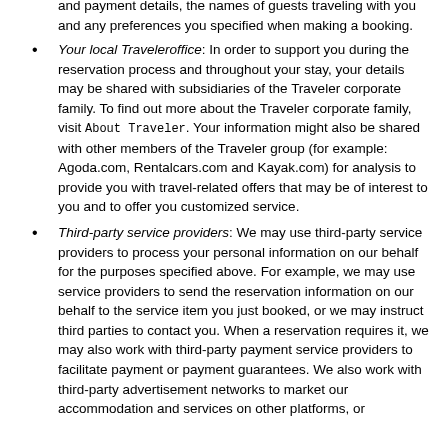and payment details, the names of guests traveling with you and any preferences you specified when making a booking.
Your local Traveleroffice: In order to support you during the reservation process and throughout your stay, your details may be shared with subsidiaries of the Traveler corporate family. To find out more about the Traveler corporate family, visit About Traveler. Your information might also be shared with other members of the Traveler group (for example: Agoda.com, Rentalcars.com and Kayak.com) for analysis to provide you with travel-related offers that may be of interest to you and to offer you customized service.
Third-party service providers: We may use third-party service providers to process your personal information on our behalf for the purposes specified above. For example, we may use service providers to send the reservation information on our behalf to the service item you just booked, or we may instruct third parties to contact you. When a reservation requires it, we may also work with third-party payment service providers to facilitate payment or payment guarantees. We also work with third-party advertisement networks to market our accommodation and services on other platforms, or